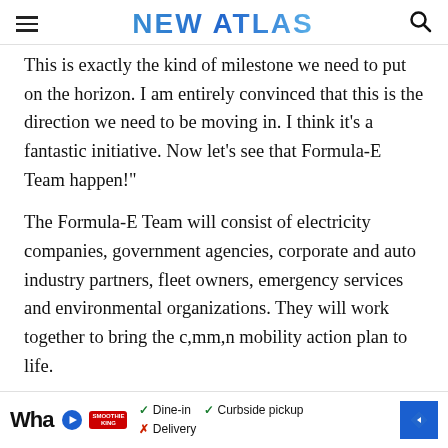NEW ATLAS
This is exactly the kind of milestone we need to put on the horizon. I am entirely convinced that this is the direction we need to be moving in. I think it's a fantastic initiative. Now let's see that Formula-E Team happen!"
The Formula-E Team will consist of electricity companies, government agencies, corporate and auto industry partners, fleet owners, emergency services and environmental organizations. They will work together to bring the c,mm,n mobility action plan to life.
[Figure (other): Advertisement banner: Wha... logo with play icon and Smoothie King badge, checkmarks for Dine-in and Curbside pickup, X for Delivery, blue diamond arrow icon]